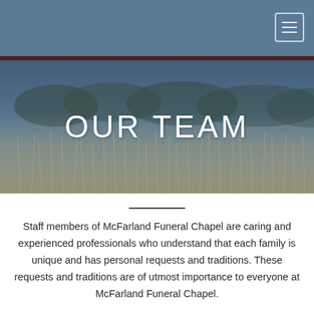[Figure (photo): A scenic outdoor background photograph showing tall grasses and reeds against a muted blue-grey sky with trees in the background. The image has a soft, blurred quality with muted blue and grey tones for the sky and warm tan/beige tones for the tall grass/reeds in the foreground.]
OUR TEAM
Staff members of McFarland Funeral Chapel are caring and experienced professionals who understand that each family is unique and has personal requests and traditions. These requests and traditions are of utmost importance to everyone at McFarland Funeral Chapel.